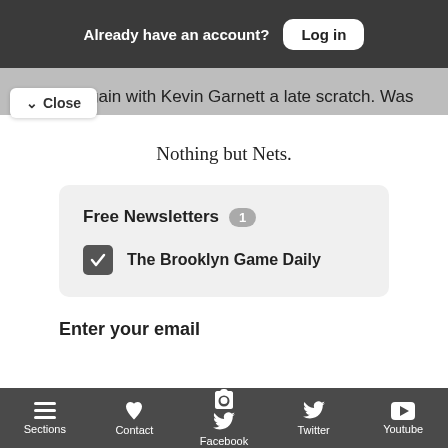Already have an account? Log in
Started again with Kevin Garnett a late scratch. Was the only show any mobility on defense, and threw down
Close
Nothing but Nets.
Free Newsletters 1
The Brooklyn Game Daily
Enter your email
Sections  Contact  Facebook  Twitter  Youtube